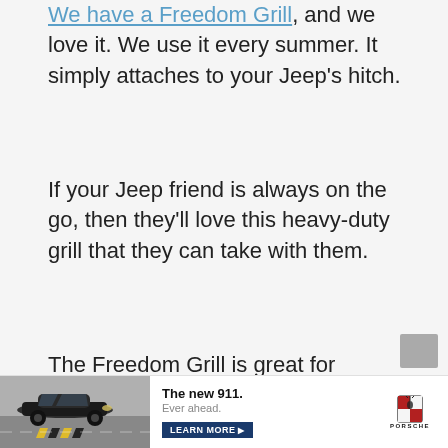We have a Freedom Grill, and we love it. We use it every summer. It simply attaches to your Jeep's hitch.
If your Jeep friend is always on the go, then they'll love this heavy-duty grill that they can take with them.
The Freedom Grill is great for tailgate parties, offroad camping, and backyard fun.
Here are some other hitch mount grills.
[Figure (photo): Porsche 911 advertisement banner showing a dark sports car on a winding road. Text reads: The new 911. Ever ahead. LEARN MORE. Porsche logo on the right.]